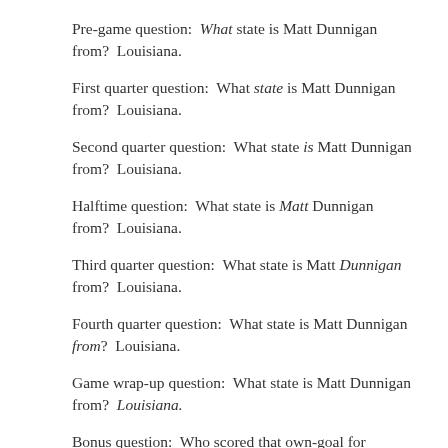Pre-game question:  What state is Matt Dunnigan from?  Louisiana.
First quarter question:  What state is Matt Dunnigan from?  Louisiana.
Second quarter question:  What state is Matt Dunnigan from?  Louisiana.
Halftime question:  What state is Matt Dunnigan from?  Louisiana.
Third quarter question:  What state is Matt Dunnigan from?  Louisiana.
Fourth quarter question:  What state is Matt Dunnigan from?  Louisiana.
Game wrap-up question:  What state is Matt Dunnigan from?  Louisiana.
Bonus question:  Who scored that own-goal for England at the FIFA semi-final game?  Steve Smith.  Seriously, just